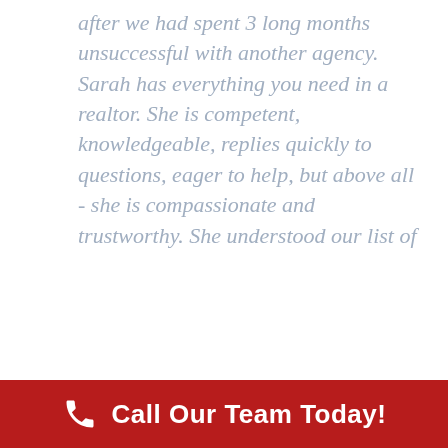after we had spent 3 long months unsuccessful with another agency. Sarah has everything you need in a realtor. She is competent, knowledgeable, replies quickly to questions, eager to help, but above all - she is compassionate and trustworthy. She understood our list of
Call Our Team Today!